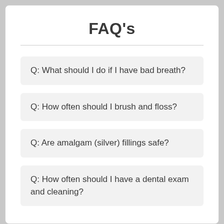FAQ's
Q: What should I do if I have bad breath?
Q: How often should I brush and floss?
Q: Are amalgam (silver) fillings safe?
Q: How often should I have a dental exam and cleaning?